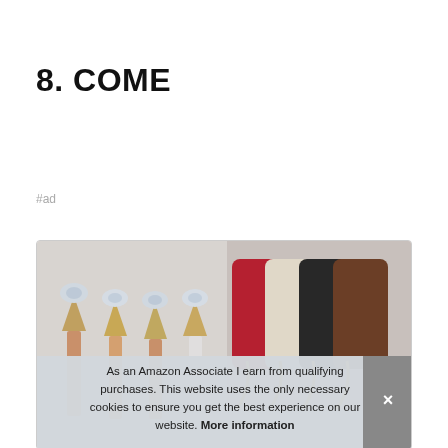8. COME
#ad
[Figure (photo): Product image showing four rose gold diamond-top ballpoint pens on the left, and several colorful drawstring pouches/bags (red, cream, black, brown) with gold cords on the right, inside a bordered card]
As an Amazon Associate I earn from qualifying purchases. This website uses the only necessary cookies to ensure you get the best experience on our website. More information